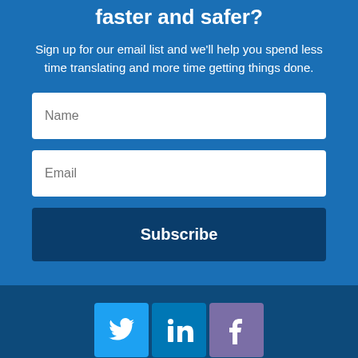faster and safer?
Sign up for our email list and we'll help you spend less time translating and more time getting things done.
[Figure (other): Email subscription form with Name field, Email field, and Subscribe button]
[Figure (other): Social media icons: Twitter, LinkedIn, Facebook]
By using this website, you agree to our Cookie policy so that we can deliver the best and safest possible user experience. I AGREE